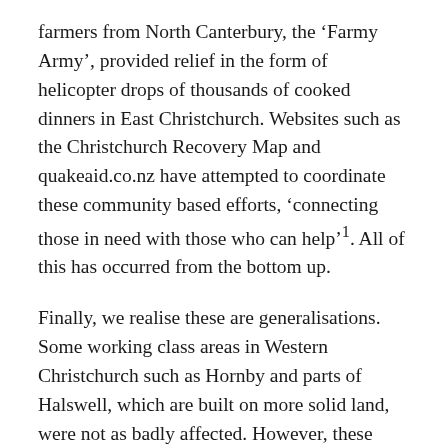farmers from North Canterbury, the 'Farmy Army', provided relief in the form of helicopter drops of thousands of cooked dinners in East Christchurch. Websites such as the Christchurch Recovery Map and quakeaid.co.nz have attempted to coordinate these community based efforts, 'connecting those in need with those who can help'. All of this has occurred from the bottom up.
Finally, we realise these are generalisations. Some working class areas in Western Christchurch such as Hornby and parts of Halswell, which are built on more solid land, were not as badly affected. However, these people still face job losses, trauma, poor income, the loss of the city centre, and damage to their houses and infrastructure. So overall our analysis holds true: working class people in all parts of Christchurch will